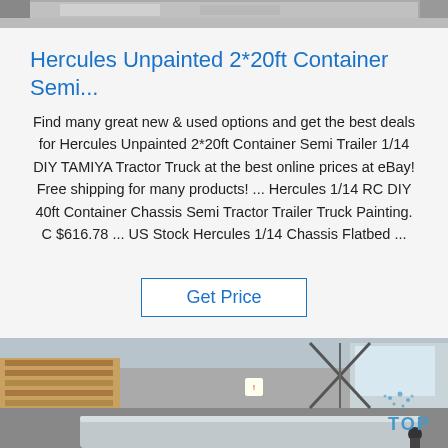[Figure (photo): Partial photo of an industrial/product image at the top of the page, cropped.]
Hercules Unpainted 2*20ft Container Semi...
Find many great new & used options and get the best deals for Hercules Unpainted 2*20ft Container Semi Trailer 1/14 DIY TAMIYA Tractor Truck at the best online prices at eBay! Free shipping for many products! ... Hercules 1/14 RC DIY 40ft Container Chassis Semi Tractor Trailer Truck Painting. C $616.78 ... US Stock Hercules 1/14 Chassis Flatbed ...
Get Price
[Figure (photo): Photo of a warehouse/factory interior with wooden pallets on the left and large metal sheets or container parts on the floor. A watermark logo with 'TOP' text is visible in the bottom-right corner.]